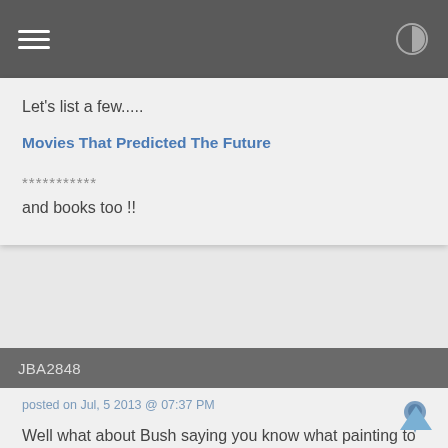Let's list a few.....
Movies That Predicted The Future
***********
and books too !!
JBA2848
posted on Jul, 5 2013 @ 07:37 PM
Well what about Bush saying you know what painting to save when the White House burns down right.

Did he predict a attack on the White House?